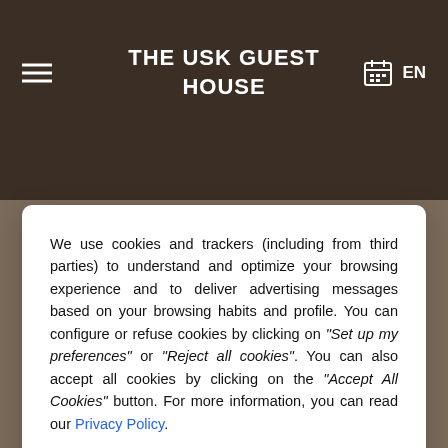THE USK GUEST HOUSE
We use cookies and trackers (including from third parties) to understand and optimize your browsing experience and to deliver advertising messages based on your browsing habits and profile. You can configure or refuse cookies by clicking on "Set up my preferences" or "Reject all cookies". You can also accept all cookies by clicking on the "Accept All Cookies" button. For more information, you can read our Privacy Policy.
Reject all cookies
Set up my preferences
Accept all cookies
Free WiFi connection.